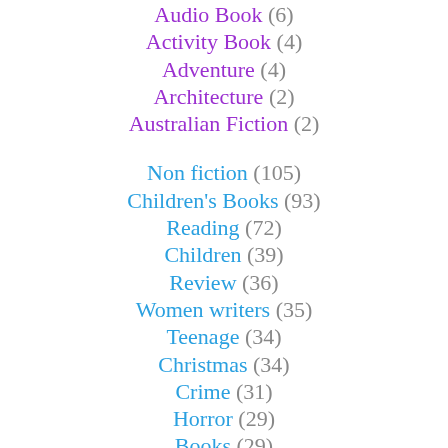Audio Book (6)
Activity Book (4)
Adventure (4)
Architecture (2)
Australian Fiction (2)
Non fiction (105)
Children's Books (93)
Reading (72)
Children (39)
Review (36)
Women writers (35)
Teenage (34)
Christmas (34)
Crime (31)
Horror (29)
Books (29)